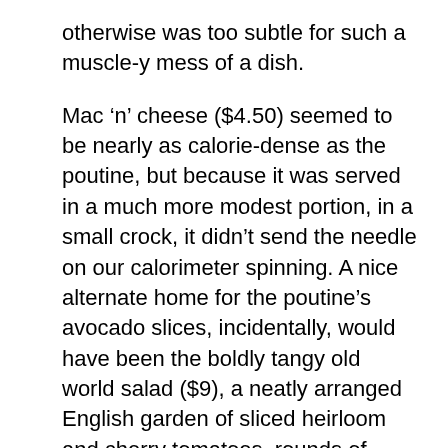otherwise was too subtle for such a muscle-y mess of a dish.
Mac ‘n’ cheese ($4.50) seemed to be nearly as calorie-dense as the poutine, but because it was served in a much more modest portion, in a small crock, it didn’t send the needle on our calorimeter spinning. A nice alternate home for the poutine’s avocado slices, incidentally, would have been the boldly tangy old world salad ($9), a neatly arranged English garden of sliced heirloom and cherry tomatoes, rounds of summer squash, smears of goat cheese, arugula leaves, and a full-throated balsamic vinaigrette that, like a compelling speaker, brought the constituents together and held them rapt.